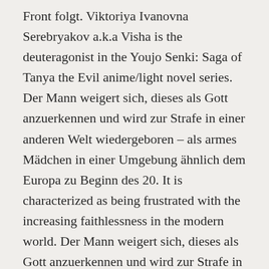Front folgt. Viktoriya Ivanovna Serebryakov a.k.a Visha is the deuteragonist in the Youjo Senki: Saga of Tanya the Evil anime/light novel series. Der Mann weigert sich, dieses als Gott anzuerkennen und wird zur Strafe in einer anderen Welt wiedergeboren – als armes Mädchen in einer Umgebung ähnlich dem Europa zu Beginn des 20. It is characterized as being frustrated with the increasing faithlessness in the modern world. Der Mann weigert sich, dieses als Gott anzuerkennen und wird zur Strafe in einer anderen Welt wiedergeboren als armes Mädchen in einer Umgebung ähnlich dem Europa zu Beginn des 20. Theaters", "UK Premiere of Saga of Tanya